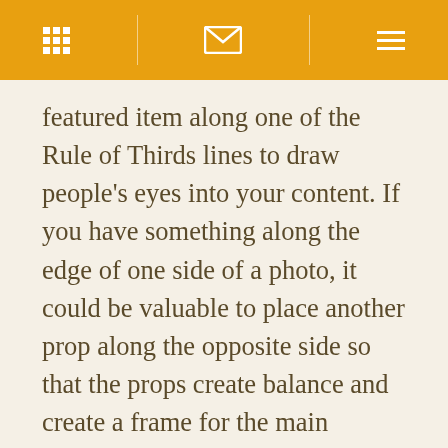[navigation icons: grid, envelope, menu]
featured item along one of the Rule of Thirds lines to draw people’s eyes into your content. If you have something along the edge of one side of a photo, it could be valuable to place another prop along the opposite side so that the props create balance and create a frame for the main object. A good example of this can be seen here in this shot from one of our clients, Laura’s Lean.